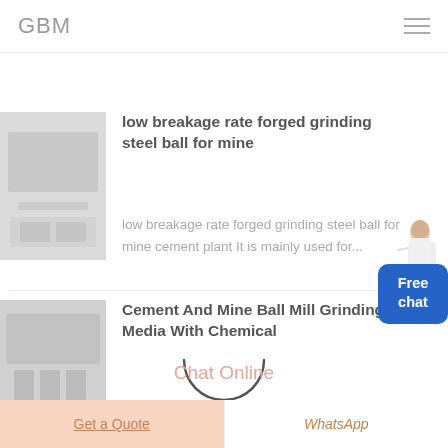GBM
[Figure (photo): Industrial facility interior, grayscale thumbnail]
low breakage rate forged grinding steel ball for mine
low breakage rate forged grinding steel ball for mine cement plant It is mainly used for...
[Figure (photo): Industrial factory floor, grayscale thumbnail]
Cement And Mine Ball Mill Grinding Media With Chemical
Cement And Mine Ball
[Figure (other): Loading spinner circle overlay]
Chat Online
Get a Quote   WhatsApp